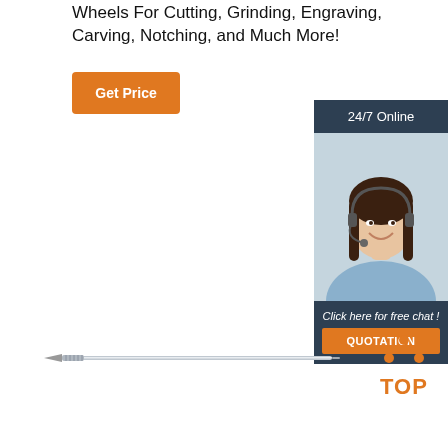Wheels For Cutting, Grinding, Engraving, Carving, Notching, and Much More!
[Figure (other): Orange 'Get Price' button]
[Figure (other): Customer service sidebar with '24/7 Online' header, photo of woman with headset, 'Click here for free chat!' text, and orange QUOTATION button]
[Figure (other): Carbide drill bit / rotary tool illustration, long thin cylindrical tool]
[Figure (logo): Orange TOP badge with dots arranged in triangle above the word TOP]